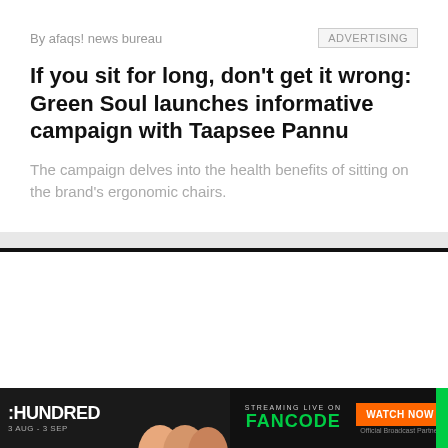By afaqs! news bureau
ADVERTISING
If you sit for long, don't get it wrong: Green Soul launches informative campaign with Taapsee Pannu
The campaign delves into the health benefits of sitting on the brand's ergonomic chairs.
[Figure (screenshot): Blank white content area below divider with scroll-to-top circular button in the bottom-right area]
[Figure (infographic): The Hundred cricket streaming advertisement banner: 3 AUG - 3 SEP, Streaming Live on FANCODE, Watch Now button, Official Broadcast Partner]